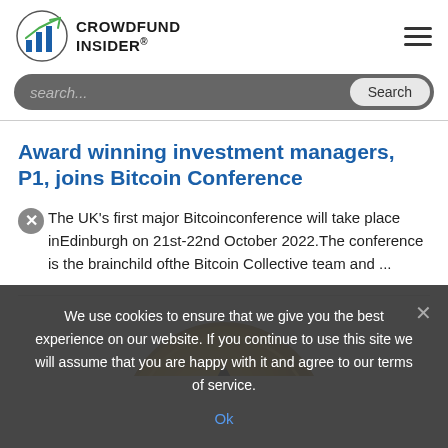CROWDFUND INSIDER
Award winning investment managers, P1, joins Bitcoin Conference
The UK's first major Bitcoinconference will take place inEdinburgh on 21st-22nd October 2022.The conference is the brainchild ofthe Bitcoin Collective team and ...
[Figure (illustration): Partially visible gold coin with a black triangle/arrow symbol on it, bottom portion of page]
We use cookies to ensure that we give you the best experience on our website. If you continue to use this site we will assume that you are happy with it and agree to our terms of service.